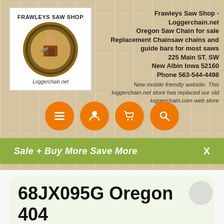[Figure (logo): Frawleys Saw Shop logo with lumberjack illustration in circular wood frame, text 'FRAWLEYS SAW SHOP' and 'Loggerchain.net']
Frawleys Saw Shop - Loggerchain.net
Oregon Saw Chain for sale
Replacement Chainsaw chains and guide bars for most saws
225 Main ST. SW
New Albin Iowa 52160
Phone 563-544-4498
New mobile friendly website. This loggerchain.net store has replaced our old loggerchain.com web store
[Figure (infographic): Four orange circular navigation buttons: menu (hamburger), account (person), cart (shopping cart), search (magnifying glass)]
Sale + Buy More Save More    X
68JX095G Oregon 404 pitch 95 drive link Full